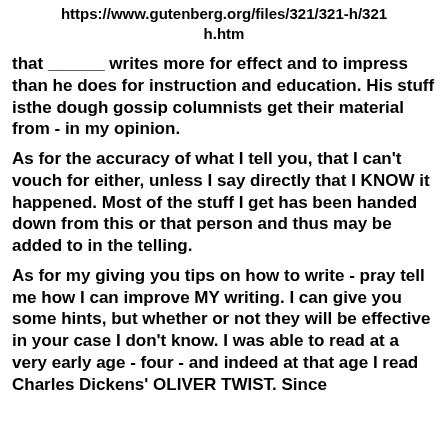https://www.gutenberg.org/files/321/321-h/321h.htm
that ______ writes more for effect and to impress than he does for instruction and education. His stuff isthe dough gossip columnists get their material from - in my opinion.
As for the accuracy of what I tell you, that I can't vouch for either, unless I say directly that I KNOW it happened. Most of the stuff I get has been handed down from this or that person and thus may be added to in the telling.
As for my giving you tips on how to write - pray tell me how I can improve MY writing. I can give you some hints, but whether or not they will be effective in your case I don't know. I was able to read at a very early age - four - and indeed at that age I read Charles Dickens' OLIVER TWIST. Since the...